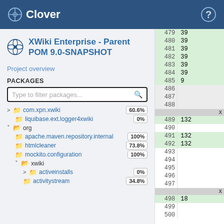Clover
XWiki Enterprise - Parent POM 9.0-SNAPSHOT
Project overview
PACKAGES
> com.xpn.xwiki 60.6%
liquibase.ext.logger4xwiki 0%
v org
apache.maven.repository.internal 100%
htmlcleaner 73.8%
mockito.configuration 100%
v xwiki
> activeinstalls 0%
activitystream 34.8%
| Line | Value |
| --- | --- |
| 479 | 39 |
| 480 | 39 |
| 481 | 39 |
| 482 | 39 |
| 483 | 39 |
| 484 | 39 |
| 485 | 9 |
| 486 |  |
| 487 |  |
| 488 |  |
| X |  |
| 489 | 132 |
| 490 |  |
| 491 | 132 |
| 492 | 132 |
| 493 |  |
| 494 |  |
| 495 |  |
| 496 |  |
| 497 |  |
| X |  |
| 498 | 18 |
| 499 |  |
| 500 |  |